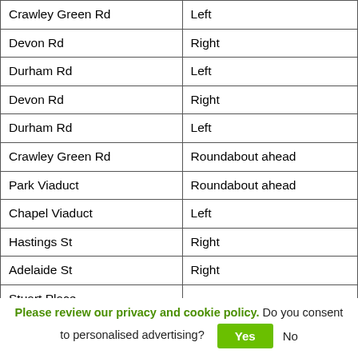| Crawley Green Rd | Left |
| Devon Rd | Right |
| Durham Rd | Left |
| Devon Rd | Right |
| Durham Rd | Left |
| Crawley Green Rd | Roundabout ahead |
| Park Viaduct | Roundabout ahead |
| Chapel Viaduct | Left |
| Hastings St | Right |
| Adelaide St | Right |
| Stuart Place |  |
| Arrive into the Driving Test | Park your vehicle |
Please review our privacy and cookie policy. Do you consent to personalised advertising? Yes No